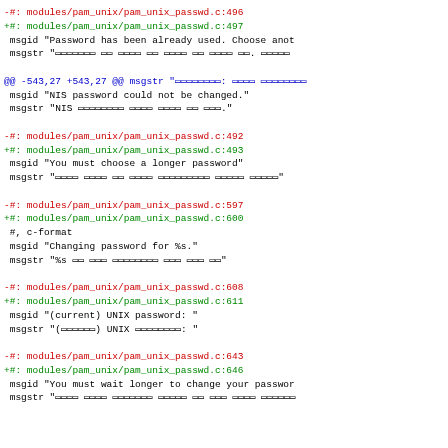Diff output showing changes to pam_unix_passwd.c translation file entries
-#: modules/pam_unix/pam_unix_passwd.c:496
+#: modules/pam_unix/pam_unix_passwd.c:497
 msgid "Password has been already used. Choose anot
 msgstr "□□□□□□□ □□ □□□□ □□ □□□□ □□ □□□□ □□. □□□□□
@@ -543,27 +543,27 @@ msgstr "□□□□□□□□: □□□□ □□□□□□□□
 msgid "NIS password could not be changed."
 msgstr "NIS □□□□□□□□ □□□□ □□□□ □□ □□□."
-#: modules/pam_unix/pam_unix_passwd.c:492
+#: modules/pam_unix/pam_unix_passwd.c:493
 msgid "You must choose a longer password"
 msgstr "□□□□ □□□□ □□ □□□□ □□□□□□□□□ □□□□□ □□□□□"
-#: modules/pam_unix/pam_unix_passwd.c:597
+#: modules/pam_unix/pam_unix_passwd.c:600
 #, c-format
 msgid "Changing password for %s."
 msgstr "%s □□ □□□ □□□□□□□□ □□□ □□□ □□"
-#: modules/pam_unix/pam_unix_passwd.c:608
+#: modules/pam_unix/pam_unix_passwd.c:611
 msgid "(current) UNIX password: "
 msgstr "(□□□□□□) UNIX □□□□□□□□: "
-#: modules/pam_unix/pam_unix_passwd.c:643
+#: modules/pam_unix/pam_unix_passwd.c:646
 msgid "You must wait longer to change your passwor
 msgstr "□□□□ □□□□ □□□□□□□ □□□□□ □□ □□□ □□□□ □□□□□□